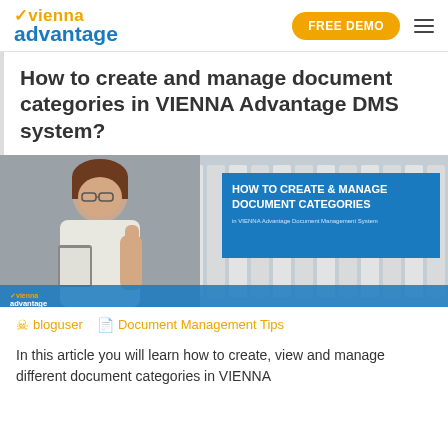vienna advantage | FREE DEMO
How to create and manage document categories in VIENNA Advantage DMS system?
[Figure (photo): Banner image showing a woman in business attire with glasses giving a thumbs-up, standing in front of office shelves with binders. A blue overlay box on the right reads: HOW TO CREATE & MANAGE DOCUMENT CATEGORIES in VIENNA Advantage Document Management System. The vienna advantage logo appears at the bottom left.]
bloguser   Document Management Tips
In this article you will learn how to create, view and manage different document categories in VIENNA